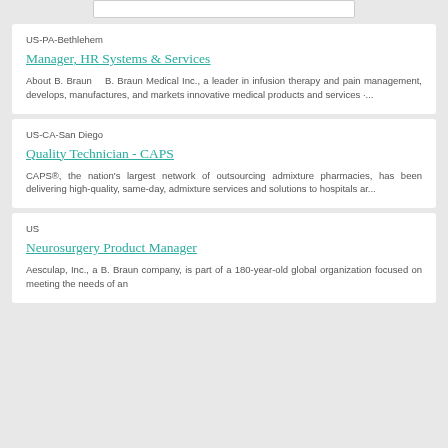US-PA-Bethlehem
Manager, HR Systems & Services
About B. Braun    B. Braun Medical Inc., a leader in infusion therapy and pain management, develops, manufactures, and markets innovative medical products and services ·...
US-CA-San Diego
Quality Technician - CAPS
CAPS®, the nation's largest network of outsourcing admixture pharmacies, has been delivering high-quality, same-day, admixture services and solutions to hospitals ar...
US
Neurosurgery Product Manager
Aesculap, Inc., a B. Braun company, is part of a 180-year-old global organization focused on meeting the needs of an